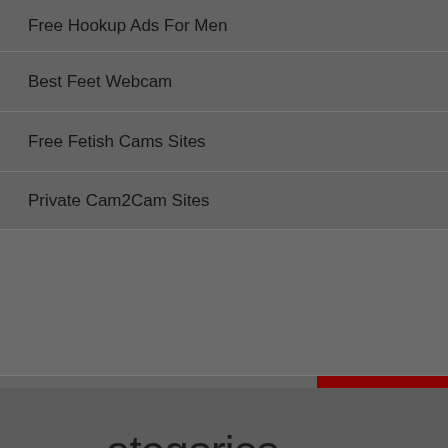Free Hookup Ads For Men
Best Feet Webcam
Free Fetish Cams Sites
Private Cam2Cam Sites
[Figure (screenshot): Navigation overlay showing partial text 'ategories' with left and right arrow navigation buttons and a golden/amber underline. Below shows a category item 'Sex'.]
Sex
Search ...
Search